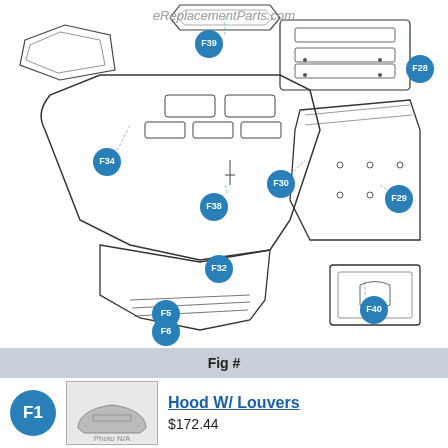[Figure (engineering-diagram): Exploded parts diagram of a lawn tractor hood assembly with labeled parts badges F5, F6, F28, F29, F30, F32, F34, F38, F39, F40. Parts include hood with louvers, side panels, and related hardware.]
eReplacementParts.com
Fig #
[Figure (photo): Small thumbnail photo of the Hood W/ Louvers part]
F1
Hood W/ Louvers
$172.44